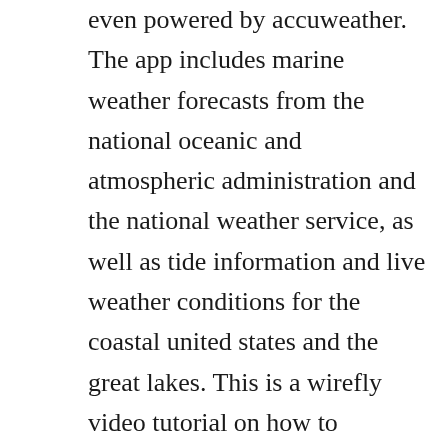even powered by accuweather. The app includes marine weather forecasts from the national oceanic and atmospheric administration and the national weather service, as well as tide information and live weather conditions for the coastal united states and the great lakes. This is a wirefly video tutorial on how to download blackberrys app world directly to your blackberry. Tastiera blackberry include una serie di componenti che funzionano insieme per offrire unesperienza di immissione ottimale.